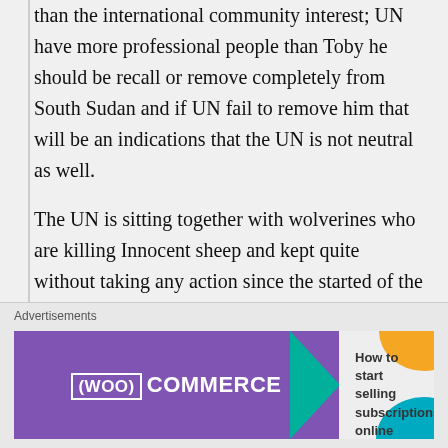than the international community interest; UN have more professional people than Toby he should be recall or remove completely from South Sudan and if UN fail to remove him that will be an indications that the UN is not neutral as well.
The UN is sitting together with wolverines who are killing Innocent sheep and kept quite without taking any action since the started of the war.
Salva Kiir can buy the whole world with our mighty oil money but at the end
[Figure (other): WooCommerce advertisement banner: purple box with WooCommerce logo and arrow, text 'How to start selling subscriptions online' with orange and teal decorative shapes]